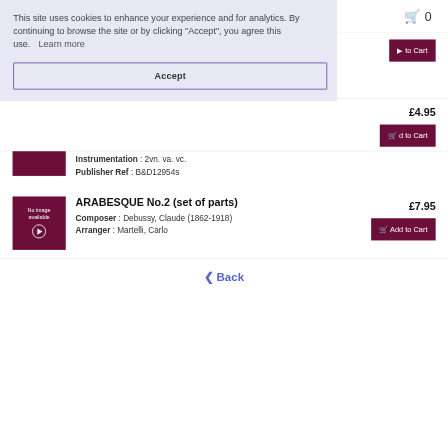This site uses cookies to enhance your experience and for analytics. By continuing to browse the site or by clicking "Accept", you agree this use.  Learn more
Accept
Instrumentation : 2vn. va. vc.
Publisher Ref : B&D12954s
ARABESQUE No.2 (set of parts)
Composer : Debussy, Claude (1862-1918)
Arranger : Martelli, Carlo
£7.95
Add to Cart
£4.95
Back